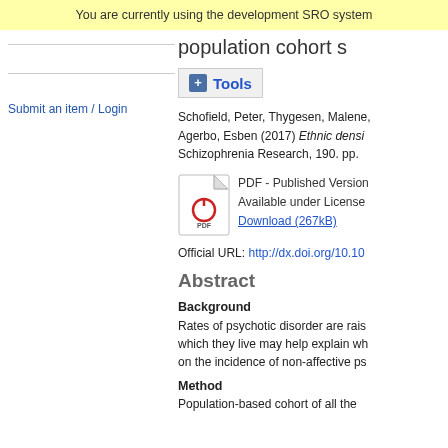You are currently using the development SRO system
Submit an item / Login
population cohort s
Tools
Schofield, Peter, Thygesen, Malene, Agerbo, Esben (2017) Ethnic densi Schizophrenia Research, 190. pp.
PDF - Published Version Available under License Download (267kB)
Official URL: http://dx.doi.org/10.10
Abstract
Background
Rates of psychotic disorder are rais which they live may help explain wh on the incidence of non-affective ps
Method
Population-based cohort of all the